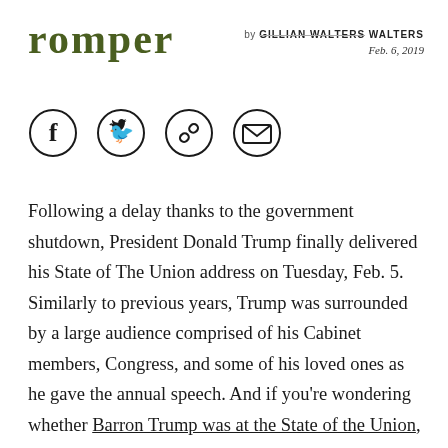romper
by GILLIAN WALTERS
Feb. 6, 2019
[Figure (other): Four social sharing icons in circles: Facebook, Twitter, link/chain, email envelope]
Following a delay thanks to the government shutdown, President Donald Trump finally delivered his State of The Union address on Tuesday, Feb. 5. Similarly to previous years, Trump was surrounded by a large audience comprised of his Cabinet members, Congress, and some of his loved ones as he gave the annual speech. And if you're wondering whether Barron Trump was at the State of the Union, the answer is no.